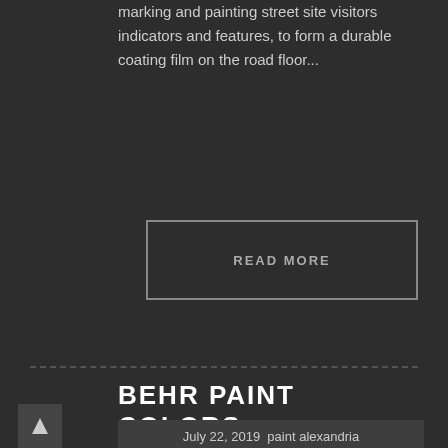marking and painting street site visitors indicators and features, to form a durable coating film on the road floor...
READ MORE
BEHR PAINT COLORS
July 22, 2019  paint alexandria
When you've got ventured into a hardware or paint retailer lately, you'll have seen that there are one million totally different paints and stains out there. Have youngsters and painting the hallway walls? The explanations for doing this contain the chemistries of the paint, the floor itself, and perhaps even the chemistry of the substrate (the article being painted). If this is new or untreated, Staining